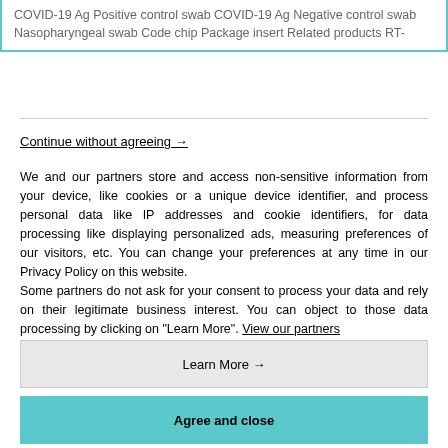COVID-19 Ag Positive control swab COVID-19 Ag Negative control swab Nasopharyngeal swab Code chip Package insert Related products RT-
Continue without agreeing →
We and our partners store and access non-sensitive information from your device, like cookies or a unique device identifier, and process personal data like IP addresses and cookie identifiers, for data processing like displaying personalized ads, measuring preferences of our visitors, etc. You can change your preferences at any time in our Privacy Policy on this website.
Some partners do not ask for your consent to process your data and rely on their legitimate business interest. You can object to those data processing by clicking on "Learn More". View our partners
Learn More →
Agree and close